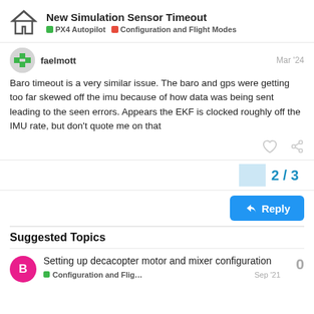New Simulation Sensor Timeout — PX4 Autopilot · Configuration and Flight Modes
faelmott   Mar '24
Baro timeout is a very similar issue. The baro and gps were getting too far skewed off the imu because of how data was being sent leading to the seen errors. Appears the EKF is clocked roughly off the IMU rate, but don't quote me on that
2 / 3
Reply
Suggested Topics
Setting up decacopter motor and mixer configuration
Configuration and Flig…   Sep '21   0